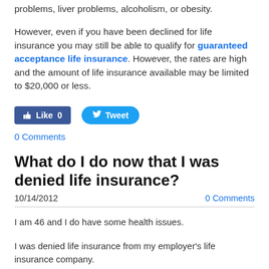problems, liver problems, alcoholism, or obesity.
However, even if you have been declined for life insurance you may still be able to qualify for guaranteed acceptance life insurance. However, the rates are high and the amount of life insurance available may be limited to $20,000 or less.
[Figure (other): Social media buttons: Facebook Like (0) and Twitter Tweet]
0 Comments
What do I do now that I was denied life insurance?
10/14/2012
0 Comments
I am 46 and I do have some health issues.
I was denied life insurance from my employer's life insurance company.